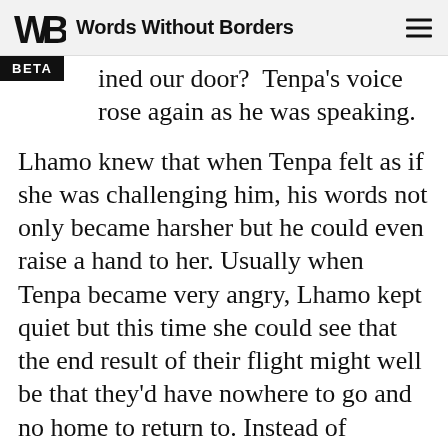Words Without Borders
ined our door?  Tenpa's voice rose again as he was speaking.
Lhamo knew that when Tenpa felt as if she was challenging him, his words not only became harsher but he could even raise a hand to her. Usually when Tenpa became very angry, Lhamo kept quiet but this time she could see that the end result of their flight might well be that they’d have nowhere to go and no home to return to. Instead of backing down as Tenpa got angrier, Lhamo kept trying to put off their escape.
Of course I would go if I can get to Ogya County and get that Chinese doctor to look at the child,